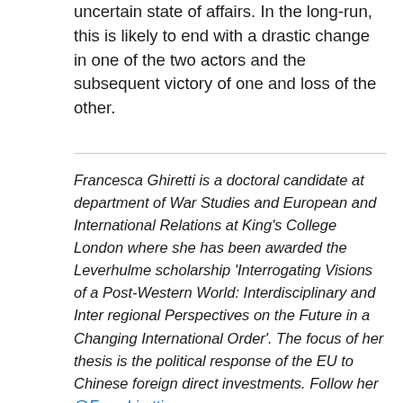uncertain state of affairs. In the long-run, this is likely to end with a drastic change in one of the two actors and the subsequent victory of one and loss of the other.
Francesca Ghiretti is a doctoral candidate at department of War Studies and European and International Relations at King's College London where she has been awarded the Leverhulme scholarship 'Interrogating Visions of a Post-Western World: Interdisciplinary and Inter regional Perspectives on the Future in a Changing International Order'. The focus of her thesis is the political response of the EU to Chinese foreign direct investments. Follow her @Fracghirotti